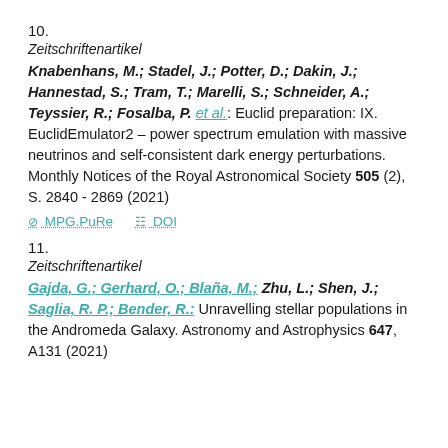10.
Zeitschriftenartikel
Knabenhans, M.; Stadel, J.; Potter, D.; Dakin, J.; Hannestad, S.; Tram, T.; Marelli, S.; Schneider, A.; Teyssier, R.; Fosalba, P. et al.: Euclid preparation: IX. EuclidEmulator2 – power spectrum emulation with massive neutrinos and self-consistent dark energy perturbations. Monthly Notices of the Royal Astronomical Society 505 (2), S. 2840 - 2869 (2021)
MPG.PuRe   DOI
11.
Zeitschriftenartikel
Gajda, G.; Gerhard, O.; Blaña, M.; Zhu, L.; Shen, J.; Saglia, R. P.; Bender, R.: Unravelling stellar populations in the Andromeda Galaxy. Astronomy and Astrophysics 647, A131 (2021)